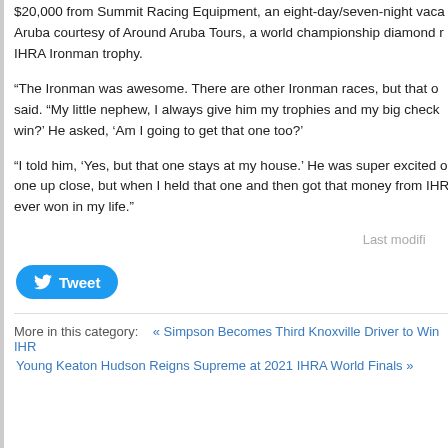$20,000 from Summit Racing Equipment, an eight-day/seven-night vacation to Aruba courtesy of Around Aruba Tours, a world championship diamond ring and an IHRA Ironman trophy.
“The Ironman was awesome. There are other Ironman races, but that one is special,” he said. “My little nephew, I always give him my trophies and my big checks. He looked at me, 'If you win?' He asked, 'Am I going to get that one too?'”
“I told him, 'Yes, but that one stays at my house.' He was super excited once he saw that one up close, but when I held that one and then got that money from IHRA, it was the most I ever won in my life.”
Last modified
[Figure (other): Tweet button with Twitter bird icon]
More in this category:   « Simpson Becomes Third Knoxville Driver to Win IHR…
Young Keaton Hudson Reigns Supreme at 2021 IHRA World Finals »